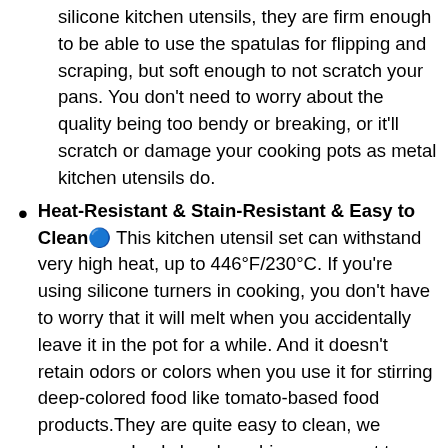silicone kitchen utensils, they are firm enough to be able to use the spatulas for flipping and scraping, but soft enough to not scratch your pans. You don't need to worry about the quality being too bendy or breaking, or it'll scratch or damage your cooking pots as metal kitchen utensils do.
Heat-Resistant & Stain-Resistant & Easy to Clean① This kitchen utensil set can withstand very high heat, up to 446°F/230°C. If you're using silicone turners in cooking, you don't have to worry that it will melt when you accidentally leave it in the pot for a while. And it doesn't retain odors or colors when you use it for stirring deep-colored food like tomato-based food products.They are quite easy to clean, we recommend only hand washing, so as not to damage the wooden finish on the handle.
Durable Wooden Handle & Steel Utensil Stand① Well crafted, solid heavy wood, give a little vintage feel, and fit nicely into your hand. Compared with